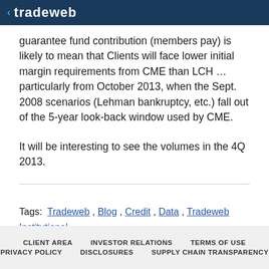Tradeweb
guarantee fund contribution (members pay) is likely to mean that Clients will face lower initial margin requirements from CME than LCH … particularly from October 2013, when the Sept. 2008 scenarios (Lehman bankruptcy, etc.) fall out of the 5-year look-back window used by CME.
It will be interesting to see the volumes in the 4Q 2013.
Tags:  Tradeweb , Blog , Credit , Data , Tradeweb Institutional , Tradeweb Markets
CLIENT AREA   INVESTOR RELATIONS   TERMS OF USE   PRIVACY POLICY   DISCLOSURES   SUPPLY CHAIN TRANSPARENCY